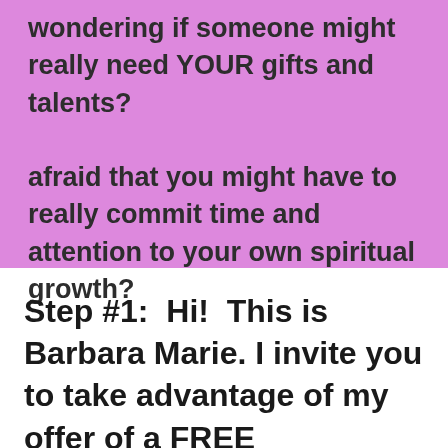wondering if someone might really need YOUR gifts and talents?

afraid that you might have to really commit time and attention to your own spiritual growth?
Step #1:  Hi!  This is Barbara Marie. I invite you to take advantage of my offer of a FREE